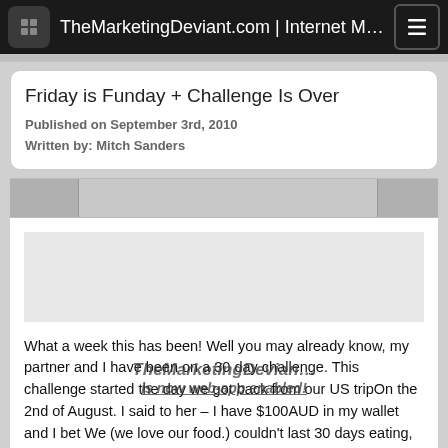TheMarketingDeviant.com | Internet Mar…
Friday is Funday + Challenge Is Over
Published on September 3rd, 2010
Written by: Mitch Sanders
[Figure (screenshot): Browser tab bar with three tab segments in grey]
What a week this has been! Well you may already know, my partner and I have been on a 30 day challenge. This challenge started the day we got back from our US tripOn the 2nd of August. I said to her – I have $100AUD in my wallet and I bet We (we love our food.) couldn't last 30 days eating, the both of us with this money.
She then says, I don't think we can either so I said lets give it a try. This started the 30 Day $100 Food Challenge. Many of you have given us your support, insights and suggestions to help us stick it out and I can say, yesterday was officially the 1st day after the 30 day challenge.